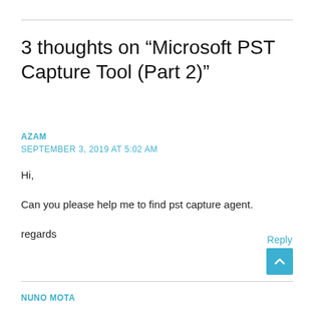3 thoughts on “Microsoft PST Capture Tool (Part 2)”
AZAM
SEPTEMBER 3, 2019 AT 5:02 AM
Hi,

Can you please help me to find pst capture agent.

regards
Reply
NUNO MOTA